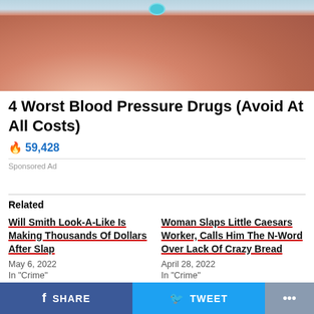[Figure (photo): Close-up photo of a tongue with a teal/blue pill or piercing on it, skin texture visible]
4 Worst Blood Pressure Drugs (Avoid At All Costs)
🔥 59,428
Sponsored Ad
Related
Will Smith Look-A-Like Is Making Thousands Of Dollars After Slap
May 6, 2022
In "Crime"
Woman Slaps Little Caesars Worker, Calls Him The N-Word Over Lack Of Crazy Bread
April 28, 2022
In "Crime"
SHARE  TWEET  ...